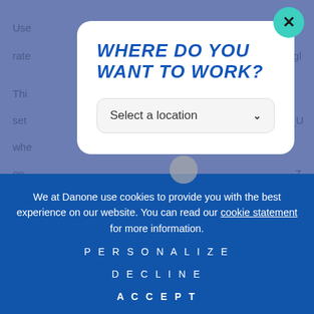[Figure (screenshot): Background webpage content partially visible behind a modal dialog, showing text fragments about usage rates and settings on a blue-grey background.]
WHERE DO YOU WANT TO WORK?
Select a location
We at Danone use cookies to provide you with the best experience on our website. You can read our cookie statement for more information.
PERSONALIZE
DECLINE
ACCEPT